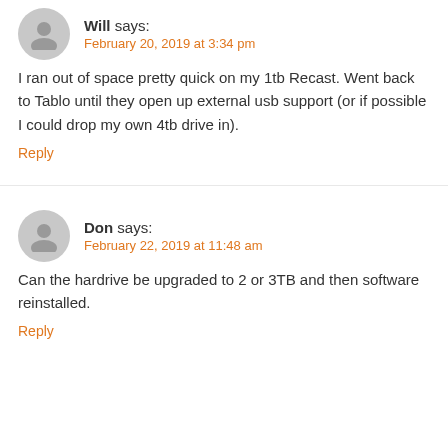Will says: February 20, 2019 at 3:34 pm
I ran out of space pretty quick on my 1tb Recast. Went back to Tablo until they open up external usb support (or if possible I could drop my own 4tb drive in).
Reply
Don says: February 22, 2019 at 11:48 am
Can the hardrive be upgraded to 2 or 3TB and then software reinstalled.
Reply